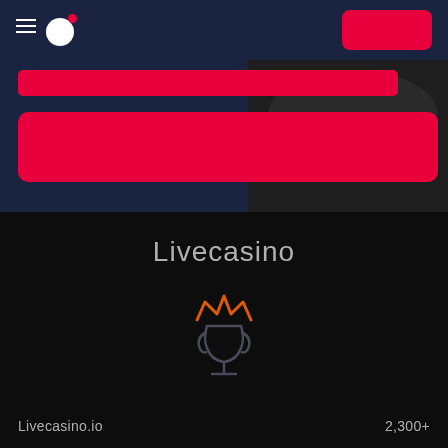Livecasino.io navigation bar with hamburger menu, logo, and red button
[Figure (screenshot): Dark navy website header with two red horizontal banner bars and a partial photo background on the right side showing a dark object]
Livecasino
[Figure (illustration): Trophy cup icon with orange crown above it, outlined in dark gray on black background]
Livecasino.io
2,300+